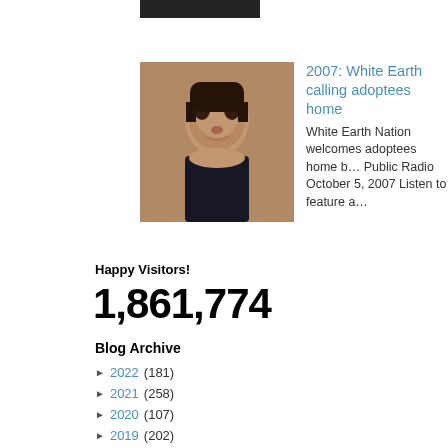[Figure (photo): Small dark rectangular image at top]
[Figure (photo): Portrait photo of a smiling woman with short dark hair]
2007: White Earth calling adoptees home
White Earth Nation welcomes adoptees home b… Public Radio October 5, 2007 Listen to feature a…
Happy Visitors!
1,861,774
Blog Archive
► 2022 (181)
► 2021 (258)
► 2020 (107)
► 2019 (202)
► 2018 (97)
▼ 2017 (148)
► December (8)
► November (18)